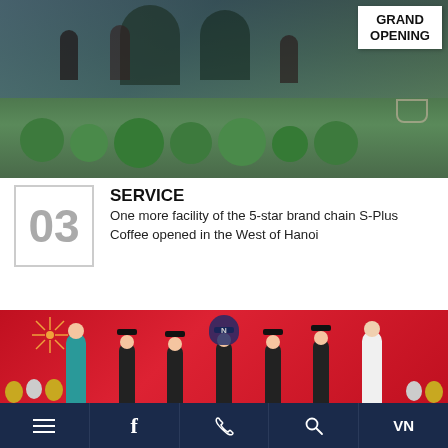[Figure (photo): Exterior of S-Plus Coffee shop with glass facade, topiary shrubs, people seated, and a Grand Opening banner visible on the right]
SERVICE
One more facility of the 5-star brand chain S-Plus Coffee opened in the West of Hanoi
[Figure (photo): Group photo of children in graduation gowns and mortarboards on a red backdrop with balloons and decorations, accompanied by two adult teachers]
Navigation bar with menu, Facebook, phone, search, and VN language icons